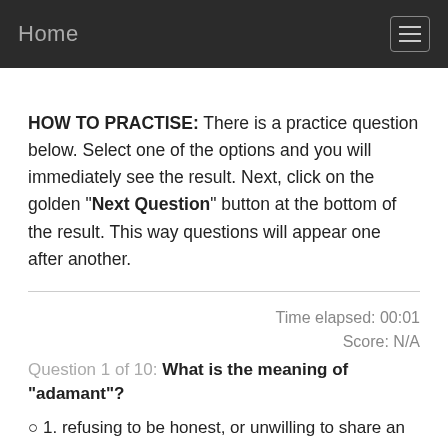Home
HOW TO PRACTISE: There is a practice question below. Select one of the options and you will immediately see the result. Next, click on the golden "Next Question" button at the bottom of the result. This way questions will appear one after another.
Time elapsed: 00:01
Score: N/A
Question 1 of 10: What is the meaning of "adamant"?
1. refusing to be honest, or unwilling to share an honest opinion or decision in spite of pleas, appeals, or reason; stubbornly unyielding 2. too hard to cut, break,